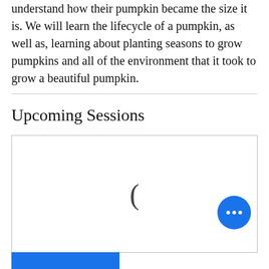understand how their pumpkin became the size it is. We will learn the lifecycle of a pumpkin, as well as, learning about planting seasons to grow pumpkins and all of the environment that it took to grow a beautiful pumpkin.
Upcoming Sessions
[Figure (other): A white rectangle with a thin gray border containing a loading spinner or partial arc symbol in the center, and a blue circular FAB button with three white dots in the bottom right corner.]